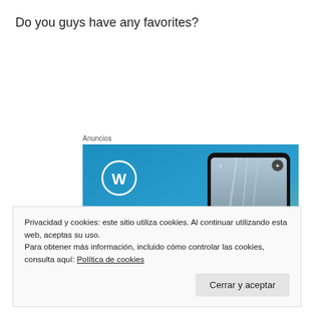Do you guys have any favorites?
Anuncios
[Figure (screenshot): WordPress advertisement banner showing the WordPress logo (W in a circle) on a blue gradient background with a smartphone showing a travel blog post titled 'VISITING SKOGAFOSS' and text 'Create immersive']
Privacidad y cookies: este sitio utiliza cookies. Al continuar utilizando esta web, aceptas su uso.
Para obtener más información, incluido cómo controlar las cookies, consulta aquí: Política de cookies
Cerrar y aceptar